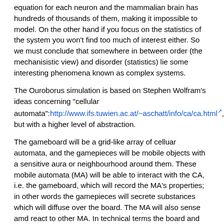equation for each neuron and the mammalian brain has hundreds of thousands of them, making it impossible to model. On the other hand if you focus on the statistics of the system you won't find too much of interest either. So we must conclude that somewhere in between order (the mechanisistic view) and disorder (statistics) lie some interesting phenomena known as complex systems.
The Ouroborus simulation is based on Stephen Wolfram's ideas concerning "cellular automata":http://www.ifs.tuwien.ac.at/~aschatt/info/ca/ca.html, but with a higher level of abstraction.
The gameboard will be a grid-like array of celluar automata, and the gamepieces will be mobile objects with a sensitive aura or neighbourhood around them. These mobile automata (MA) will be able to interact with the CA, i.e. the gameboard, which will record the MA's properties; in other words the gamepieces will secrete substances which will diffuse over the board. The MA will also sense amd react to other MA. In technical terms the board and the MA will have universal computation properties (they will be Turing machines).
Since Ouroborus is an artificial life simulation created with the purpose of teaching biology, the MA will have genotype and phenotype attributes. The phenotype will determine the way in which the MA's reproduce, and will also control mobility and sensitivity.
The genotype is only a symbolic representation of the MA's genetic code;